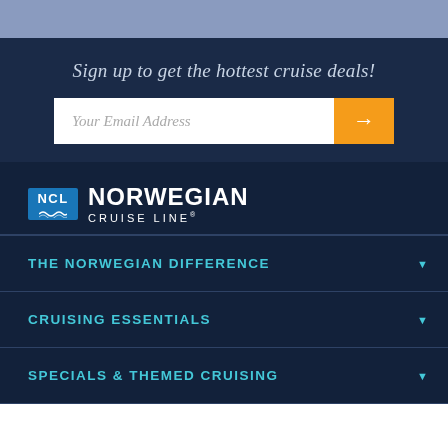Sign up to get the hottest cruise deals!
[Figure (screenshot): Email signup form with text input field labeled 'Your Email Address' and an orange submit button with right arrow]
[Figure (logo): Norwegian Cruise Line logo with NCL badge and company name]
THE NORWEGIAN DIFFERENCE
CRUISING ESSENTIALS
SPECIALS & THEMED CRUISING